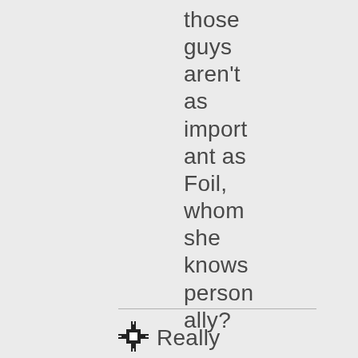those guys aren't as important as Foil, whom she knows personally?
Really